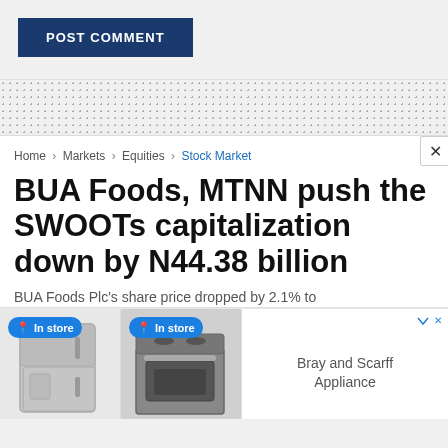POST COMMENT
[Figure (other): Dotted pattern divider area]
Home > Markets > Equities > Stock Market
BUA Foods, MTNN push the SWOOTs capitalization down by N44.38 billion
BUA Foods Plc's share price dropped by 2.1% to
[Figure (other): Advertisement banner showing appliances in store from Bray and Scarff Appliance with two product images and In store badges]